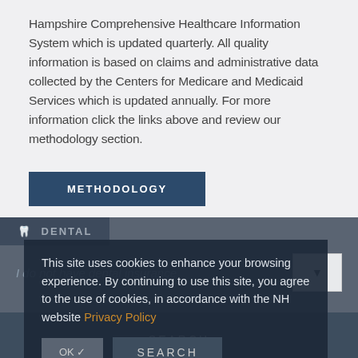Hampshire Comprehensive Healthcare Information System which is updated quarterly. All quality information is based on claims and administrative data collected by the Centers for Medicare and Medicaid Services which is updated annually. For more information click the links above and review our methodology section.
METHODOLOGY
🦷 DENTAL
I do not have dental insurance
This site uses cookies to enhance your browsing experience. By continuing to use this site, you agree to the use of cookies, in accordance with the NH website Privacy Policy
OK ✓ SEARCH
Adult Dental Cleaning ›